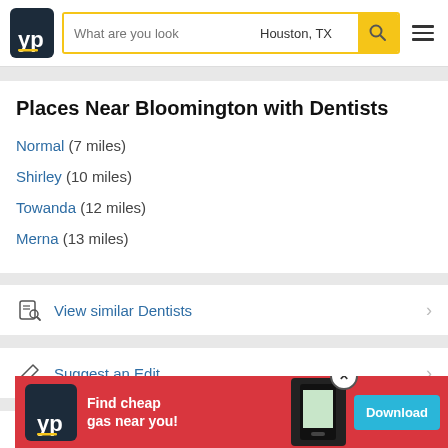YP | What are you looking for? | Houston, TX
Places Near Bloomington with Dentists
Normal (7 miles)
Shirley (10 miles)
Towanda (12 miles)
Merna (13 miles)
View similar Dentists
Suggest an Edit
Brow
[Figure (screenshot): YP advertisement banner: Find cheap gas near you! Download button]